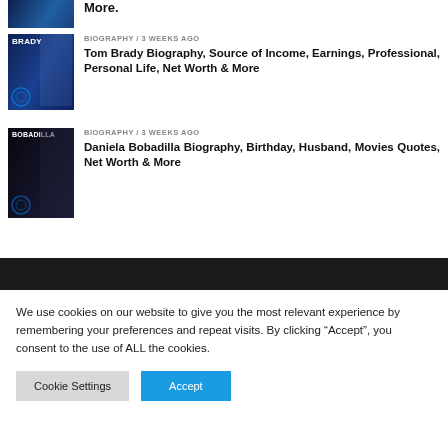[Figure (photo): Partial thumbnail image at top, blue-toned sports graphic with partial title text 'More.']
More.
[Figure (photo): Tom Brady biography thumbnail with blue background, 'BRADY' text label and person silhouette]
BIOGRAPHY / 3 weeks ago
Tom Brady Biography, Source of Income, Earnings, Professional, Personal Life, Net Worth & More
[Figure (photo): Daniela Bobadilla biography thumbnail with dark background, 'BOBADILLA' text label and female silhouette]
BIOGRAPHY / 3 weeks ago
Daniela Bobadilla Biography, Birthday, Husband, Movies Quotes, Net Worth & More
We use cookies on our website to give you the most relevant experience by remembering your preferences and repeat visits. By clicking “Accept”, you consent to the use of ALL the cookies.
Cookie Settings
Accept